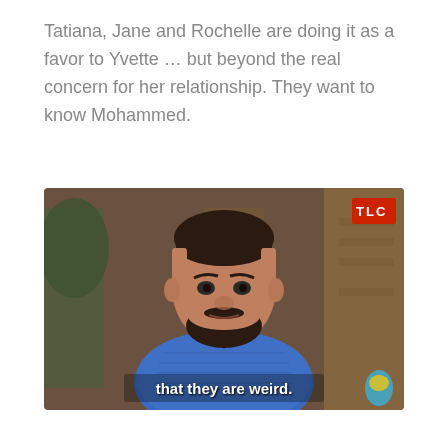Tatiana, Jane and Rochelle are doing it as a favor to Yvette … but beyond the real concern for her relationship. They want to know Mohammed.
[Figure (screenshot): A man with a beard wearing a blue striped shirt speaking on camera, from the TLC television show. A TLC logo badge appears in the top right corner. Subtitle text reads 'that they are weird.']